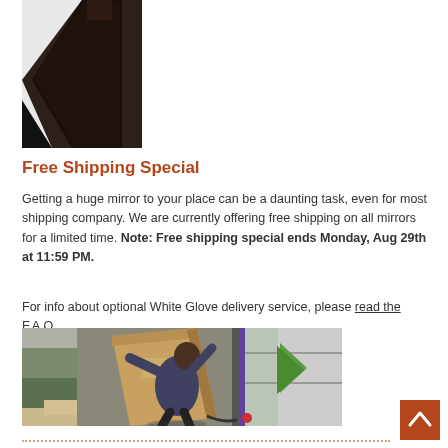[Figure (photo): Partial view of a dark framed mirror leaning at an angle against a white background]
Free Shipping Special
Getting a huge mirror to your place can be a daunting task, even for most shipping company. We are currently offering free shipping on all mirrors for a limited time. Note: Free shipping special ends Monday, Aug 29th at 11:59 PM.
For info about optional White Glove delivery service, please read the F.A.Q.
[Figure (photo): A delivery worker loading a large flat cardboard box into a truck]
dotted separator line